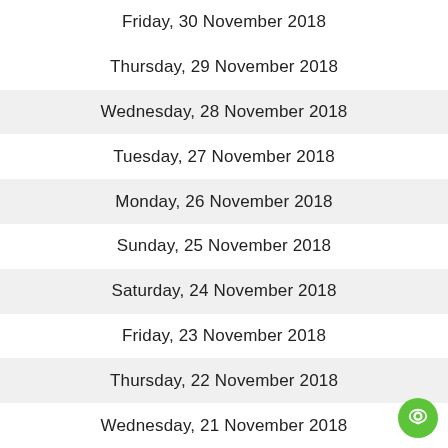Friday, 30 November 2018
Thursday, 29 November 2018
Wednesday, 28 November 2018
Tuesday, 27 November 2018
Monday, 26 November 2018
Sunday, 25 November 2018
Saturday, 24 November 2018
Friday, 23 November 2018
Thursday, 22 November 2018
Wednesday, 21 November 2018